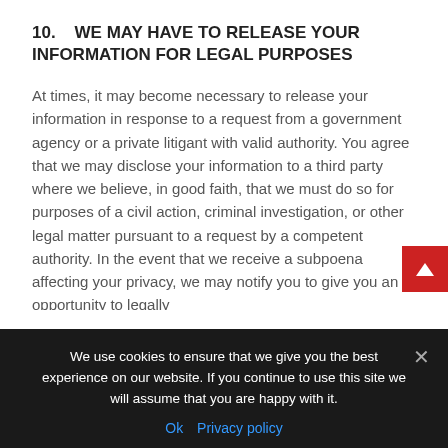10.   WE MAY HAVE TO RELEASE YOUR INFORMATION FOR LEGAL PURPOSES
At times, it may become necessary to release your information in response to a request from a government agency or a private litigant with valid authority. You agree that we may disclose your information to a third party where we believe, in good faith, that we must do so for purposes of a civil action, criminal investigation, or other legal matter pursuant to a request by a competent authority. In the event that we receive a subpoena affecting your privacy, we may notify you to give you an opportunity to legally
We use cookies to ensure that we give you the best experience on our website. If you continue to use this site we will assume that you are happy with it.